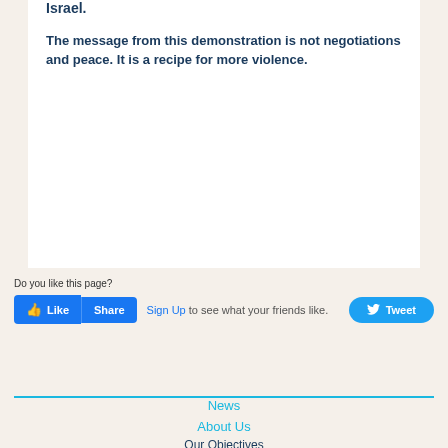Israel.
The message from this demonstration is not negotiations and peace. It is a recipe for more violence.
Do you like this page?
Like  Share  Sign Up to see what your friends like.  Tweet
News
About Us
Our Objectives
Our Values
Our Red Lines
Our Team
Contact
Privacy Policy